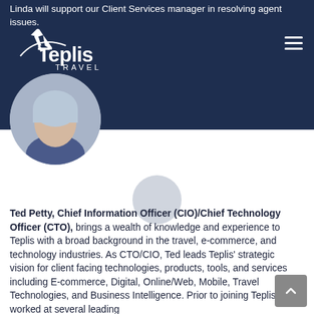Linda will support our Client Services manager in resolving agent issues.
[Figure (logo): Teplis Travel logo with airplane icon, white text on dark blue background]
[Figure (photo): Circular profile photo of a woman with light blue-tinted hair, wearing a dark blazer]
Ted Petty, Chief Information Officer (CIO)/Chief Technology Officer (CTO), brings a wealth of knowledge and experience to Teplis with a broad background in the travel, e-commerce, and technology industries. As CTO/CIO, Ted leads Teplis' strategic vision for client facing technologies, products, tools, and services including E-commerce, Digital, Online/Web, Mobile, Travel Technologies, and Business Intelligence. Prior to joining Teplis, Ted worked at several leading